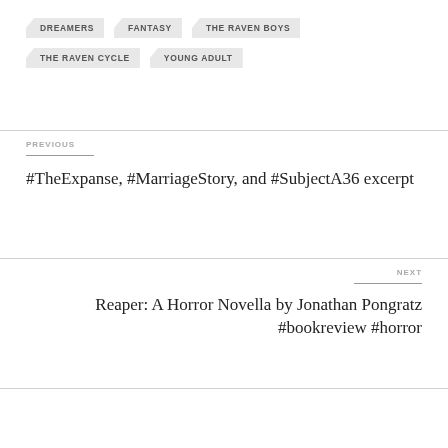DREAMERS
FANTASY
THE RAVEN BOYS
THE RAVEN CYCLE
YOUNG ADULT
PREVIOUS
#TheExpanse, #MarriageStory, and #SubjectA36 excerpt
NEXT
Reaper: A Horror Novella by Jonathan Pongratz #bookreview #horror